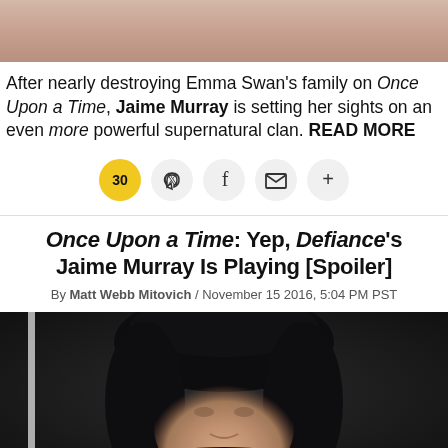[Figure (photo): Top portion of a photo showing a person, cropped at top of page]
After nearly destroying Emma Swan’s family on Once Upon a Time, Jaime Murray is setting her sights on an even more powerful supernatural clan. READ MORE
[Figure (infographic): Social sharing bar with comment count badge (30), Twitter, Facebook, email, and plus icons]
Once Upon a Time: Yep, Defiance’s Jaime Murray Is Playing [Spoiler]
By Matt Webb Mitovich / November 15 2016, 5:04 PM PST
[Figure (photo): Photo of Jaime Murray at an event, dark background with dark hair, smiling slightly]